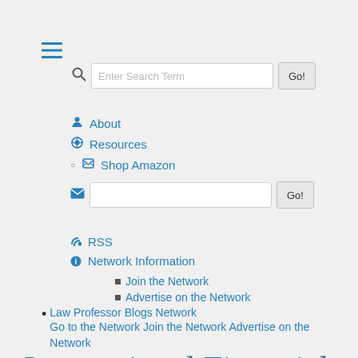[Figure (screenshot): Hamburger menu icon (three horizontal lines) in blue]
[Figure (screenshot): Search bar with placeholder 'Enter Search Term' and Go! button]
About
Resources
Shop Amazon
[Figure (screenshot): Email subscription input box with Go! button]
RSS
Network Information
Join the Network
Advertise on the Network
Law Professor Blogs Network Go to the Network Join the Network Advertise on the Network
International Financial Law Prof Blog